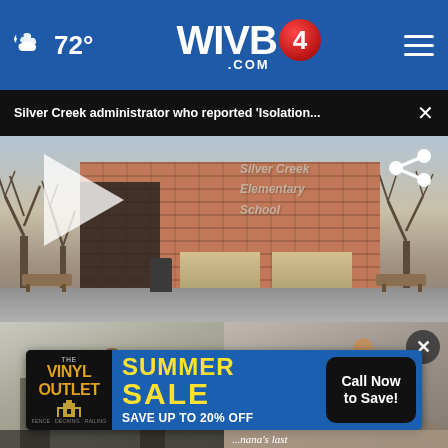WIVB4.COM — 72°
Silver Creek administrator who reported 'Isolation...  ×
[Figure (photo): Exterior photo of Silver Creek Elementary School brick building with trees, video player with play button and share icon overlay]
[Figure (photo): Bottom strip showing partial images of people outdoors, with a close (×) button overlay]
[Figure (infographic): The Vinyl Outlet advertisement banner: SUMMER SALE — SAVE UP TO 20% OFF, with Call Now to Save! button]